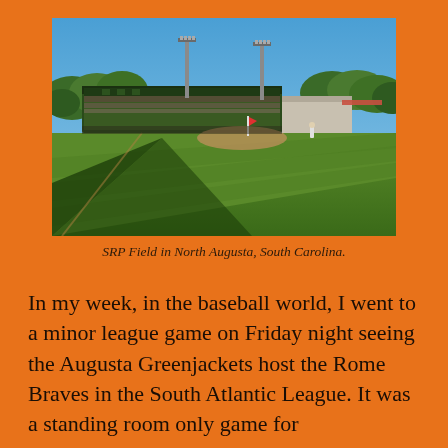[Figure (photo): Aerial view of SRP Field baseball stadium in North Augusta, South Carolina, showing the green playing field, packed stands with spectators, outfield, and light towers under a blue sky.]
SRP Field in North Augusta, South Carolina.
In my week, in the baseball world, I went to a minor league game on Friday night seeing the Augusta Greenjackets host the Rome Braves in the South Atlantic League. It was a standing room only game for